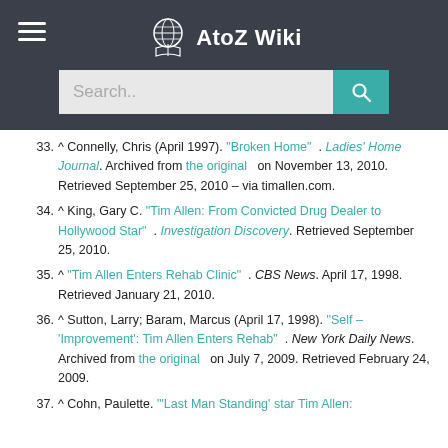AtoZ Wiki
33. ^ Connelly, Chris (April 1997). "Broken Home" . Ladies' Home Journal. Archived from the original on November 13, 2010. Retrieved September 25, 2010 – via timallen.com.
34. ^ King, Gary C. "Tim Allen: From Convicted Drug Dealer to Hollywood Star" . Investigation Discovery. Retrieved September 25, 2010.
35. ^ "Tim Allen Enters Rehab Clinic" . CBS News. April 17, 1998. Retrieved January 21, 2010.
36. ^ Sutton, Larry; Baram, Marcus (April 17, 1998). "Self – 'Improvement': Tim Allen Enters Rehab" . New York Daily News. Archived from the original on July 7, 2009. Retrieved February 24, 2009.
37. ^ Cohn, Paulette. "'Last Man Standing' star Tim Allen: